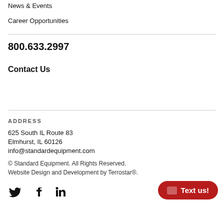News & Events
Career Opportunities
800.633.2997
Contact Us
ADDRESS
625 South IL Route 83
Elmhurst, IL 60126
info@standardequipment.com
© Standard Equipment. All Rights Reserved.
Website Design and Development by Terrostar®.
[Figure (other): Social media icons: Twitter, Facebook, LinkedIn]
Text us!